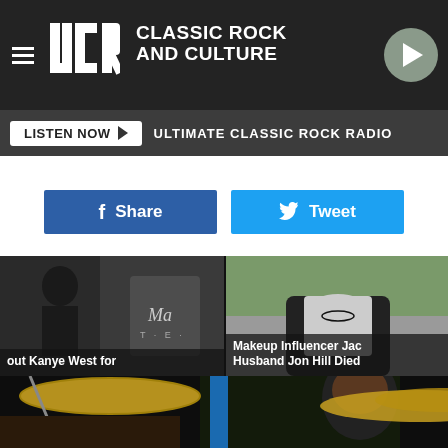UCR Classic Rock and Culture
LISTEN NOW ▶ ULTIMATE CLASSIC ROCK RADIO
Share
Tweet
[Figure (photo): Thumbnail image partially showing Kanye West caption: 'out Kanye West for']
[Figure (photo): Thumbnail image of a person with caption: 'Makeup Influencer Jac Husband Jon Hill Died']
[Figure (photo): Large photo of a Black man playing drums live on stage with cymbals visible]